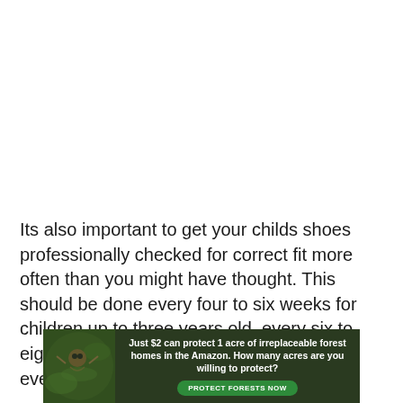Its also important to get your childs shoes professionally checked for correct fit more often than you might have thought. This should be done every four to six weeks for children up to three years old, every six to eight weeks from three to four years, and every 10 to 12 weeks thereafter .
[Figure (infographic): Advertisement banner with dark green forest background showing a sloth. Text reads: 'Just $2 can protect 1 acre of irreplaceable forest homes in the Amazon. How many acres are you willing to protect?' with a green 'PROTECT FORESTS NOW' button.]